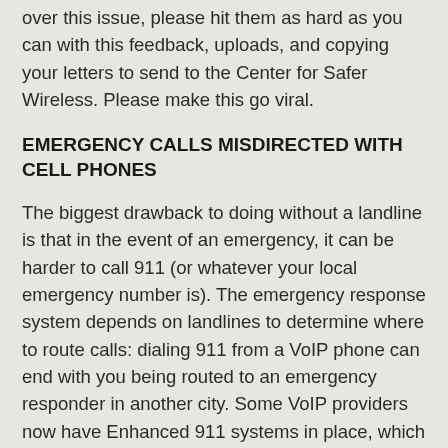over this issue, please hit them as hard as you can with this feedback, uploads, and copying your letters to send to the Center for Safer Wireless. Please make this go viral.
EMERGENCY CALLS MISDIRECTED WITH CELL PHONES
The biggest drawback to doing without a landline is that in the event of an emergency, it can be harder to call 911 (or whatever your local emergency number is). The emergency response system depends on landlines to determine where to route calls: dialing 911 from a VoIP phone can end with you being routed to an emergency responder in another city. Some VoIP providers now have Enhanced 911 systems in place, which will correctly route your call, but not all providers have made the change over.